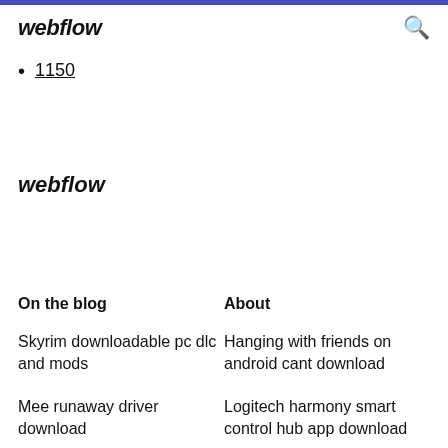webflow
1150
webflow
On the blog
About
Skyrim downloadable pc dlc and mods
Hanging with friends on android cant download
Mee runaway driver download
Logitech harmony smart control hub app download